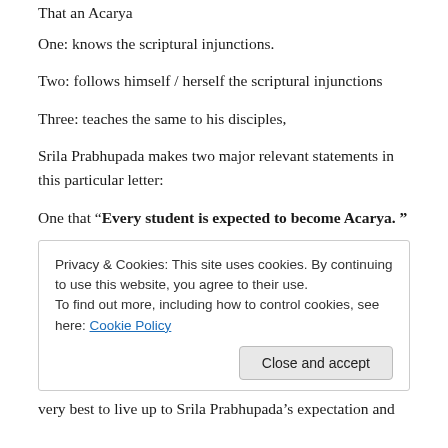That an Acarya
One: knows the scriptural injunctions.
Two: follows himself / herself the scriptural injunctions
Three: teaches the same to his disciples,
Srila Prabhupada makes two major relevant statements in this particular letter:
One that “Every student is expected to become Acarya. ”
Privacy & Cookies: This site uses cookies. By continuing to use this website, you agree to their use.
To find out more, including how to control cookies, see here: Cookie Policy
very best to live up to Srila Prabhupada’s expectation and